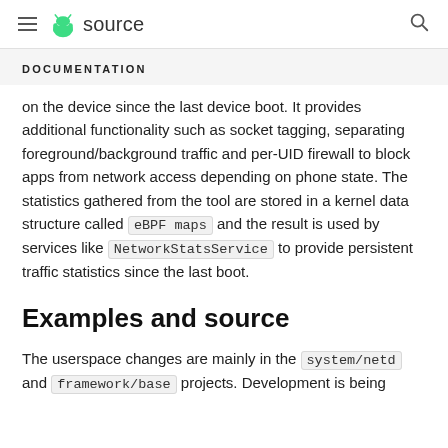≡ Android source
DOCUMENTATION
on the device since the last device boot. It provides additional functionality such as socket tagging, separating foreground/background traffic and per-UID firewall to block apps from network access depending on phone state. The statistics gathered from the tool are stored in a kernel data structure called eBPF maps and the result is used by services like NetworkStatsService to provide persistent traffic statistics since the last boot.
Examples and source
The userspace changes are mainly in the system/netd and framework/base projects. Development is being